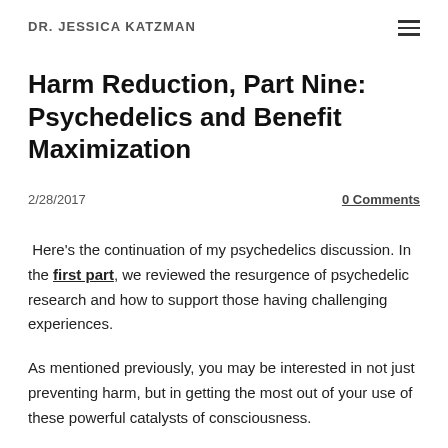DR. JESSICA KATZMAN
Harm Reduction, Part Nine: Psychedelics and Benefit Maximization
2/28/2017
0 Comments
Here's the continuation of my psychedelics discussion. In the first part, we reviewed the resurgence of psychedelic research and how to support those having challenging experiences.
As mentioned previously, you may be interested in not just preventing harm, but in getting the most out of your use of these powerful catalysts of consciousness.